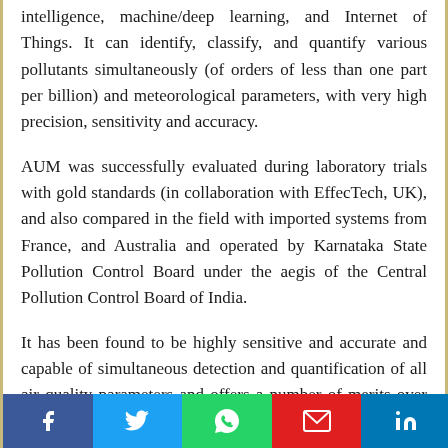intelligence, machine/deep learning, and Internet of Things. It can identify, classify, and quantify various pollutants simultaneously (of orders of less than one part per billion) and meteorological parameters, with very high precision, sensitivity and accuracy.
AUM was successfully evaluated during laboratory trials with gold standards (in collaboration with EffecTech, UK), and also compared in the field with imported systems from France, and Australia and operated by Karnataka State Pollution Control Board under the aegis of the Central Pollution Control Board of India.
It has been found to be highly sensitive and accurate and capable of simultaneous detection and quantification of all air quality parameters and offers a number of merits over any of the currently available conventional systems. It is portable, compact, low powered and economical, works on plug and play system, requires no setting uptime, and no
Social share bar: Facebook, Twitter, WhatsApp, Email, LinkedIn